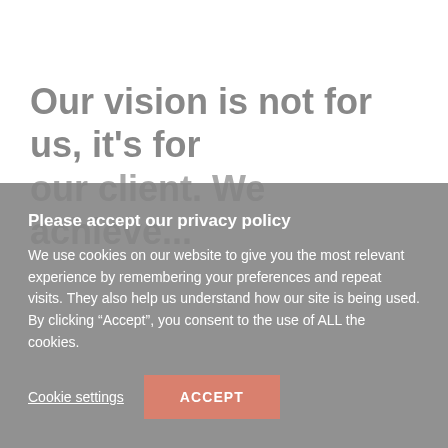Our vision is not for us, it's for our client. We achieve...
Please accept our privacy policy
We use cookies on our website to give you the most relevant experience by remembering your preferences and repeat visits. They also help us understand how our site is being used. By clicking “Accept”, you consent to the use of ALL the cookies.
Cookie settings
ACCEPT